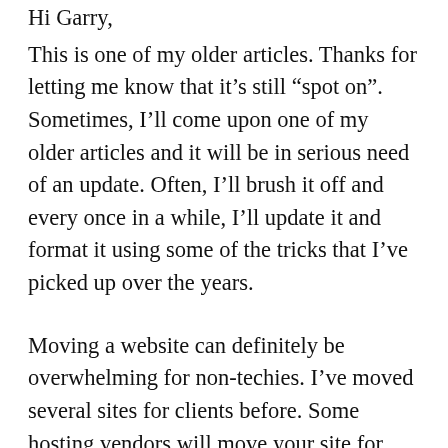Hi Garry,
This is one of my older articles. Thanks for letting me know that it’s still “spot on”. Sometimes, I’ll come upon one of my older articles and it will be in serious need of an update. Often, I’ll brush it off and every once in a while, I’ll update it and format it using some of the tricks that I’ve picked up over the years.
Moving a website can definitely be overwhelming for non-techies. I’ve moved several sites for clients before. Some hosting vendors will move your site for free when you sign up for a hosting plan. They’re hoping that you’re moving multiple sites.